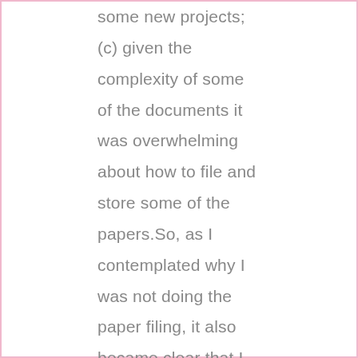some new projects; (c) given the complexity of some of the documents it was overwhelming about how to file and store some of the papers.So, as I contemplated why I was not doing the paper filing, it also became clear that I needed focused time – not time in between my social